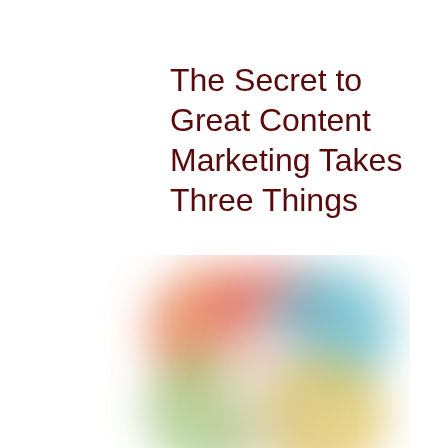The Secret to Great Content Marketing Takes Three Things
[Figure (illustration): A blurred decorative image showing overlapping colored circles or blobs in orange, pink/red, teal/blue, green, and yellow arranged in a flower-like pattern on a white background.]